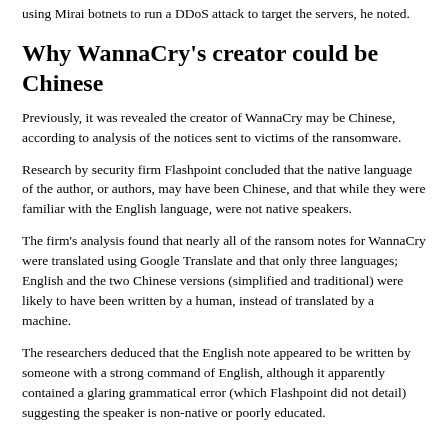using Mirai botnets to run a DDoS attack to target the servers, he noted.
Why WannaCry's creator could be Chinese
Previously, it was revealed the creator of WannaCry may be Chinese, according to analysis of the notices sent to victims of the ransomware.
Research by security firm Flashpoint concluded that the native language of the author, or authors, may have been Chinese, and that while they were familiar with the English language, were not native speakers.
The firm's analysis found that nearly all of the ransom notes for WannaCry were translated using Google Translate and that only three languages; English and the two Chinese versions (simplified and traditional) were likely to have been written by a human, instead of translated by a machine.
The researchers deduced that the English note appeared to be written by someone with a strong command of English, although it apparently contained a glaring grammatical error (which Flashpoint did not detail) suggesting the speaker is non-native or poorly educated.